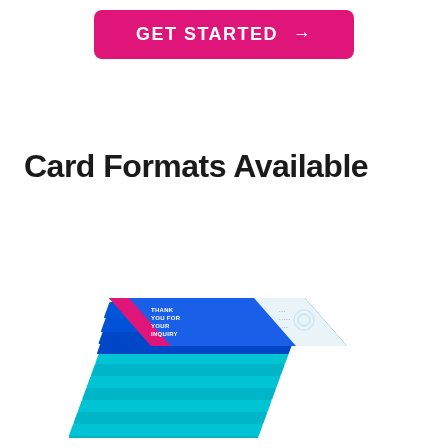[Figure (other): Pink/magenta rounded rectangular button with white bold uppercase text reading 'GET STARTED →']
Card Formats Available
[Figure (photo): A stack of blue and teal business/greeting cards with magenta accent. The top card reads 'THANK YOU FOR YOUR INQUIRY' in white bold text on a blue background. The cards are shown in a 3D angled perspective view.]